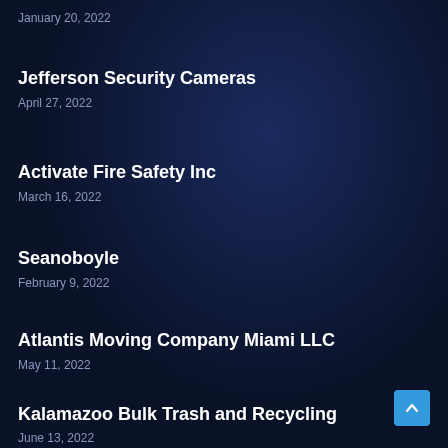January 20, 2022
Jefferson Security Cameras
April 27, 2022
Activate Fire Safety Inc
March 16, 2022
Seanoboyle
February 9, 2022
Atlantis Moving Company Miami LLC
May 11, 2022
Kalamazoo Bulk Trash and Recycling
June 13, 2022